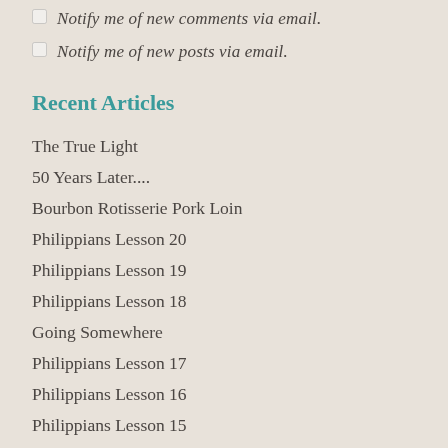Notify me of new comments via email.
Notify me of new posts via email.
Recent Articles
The True Light
50 Years Later....
Bourbon Rotisserie Pork Loin
Philippians Lesson 20
Philippians Lesson 19
Philippians Lesson 18
Going Somewhere
Philippians Lesson 17
Philippians Lesson 16
Philippians Lesson 15